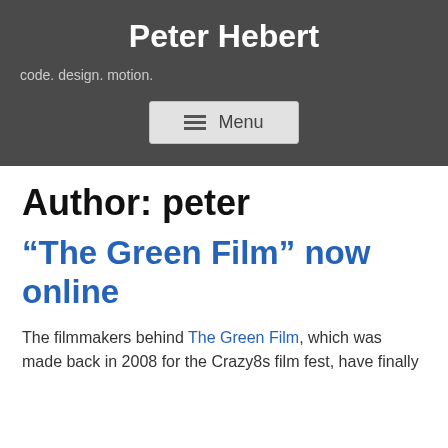Peter Hebert
code. design. motion.
[Figure (screenshot): Menu button with hamburger icon and 'Menu' label on dark background]
Author: peter
“The Green Film” now online
The filmmakers behind The Green Film, which was made back in 2008 for the Crazy8s film fest, have finally